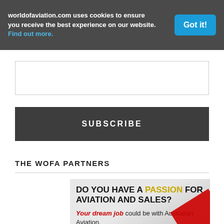worldofaviation.com uses cookies to ensure you receive the best experience on our website. Find out more.
Got it!
SUBSCRIBE
THE WOFA PARTNERS
[Figure (infographic): Advertisement banner with gray gradient background. Large bold black text reads 'DO YOU HAVE A PASSION FOR AVIATION AND SALES?' with PASSION highlighted in gold/yellow. Below in italic red bold: 'Your dream job' followed by regular text 'could be with Australian Aviation.' Red diagonal stripe in bottom right corner.]